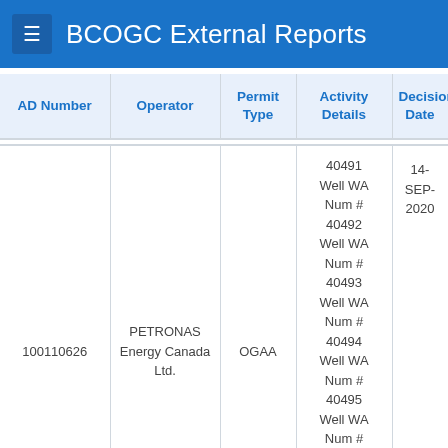BCOGC External Reports
| AD Number | Operator | Permit Type | Activity Details | Decision Date | C |
| --- | --- | --- | --- | --- | --- |
| 100110626 | PETRONAS Energy Canada Ltd. | OGAA | 40491 Well WA Num # 40492 Well WA Num # 40493 Well WA Num # 40494 Well WA Num # 40495 Well WA Num # 40496 Well WA Num # 40497 Well WA | 14-SEP-2020 |  |